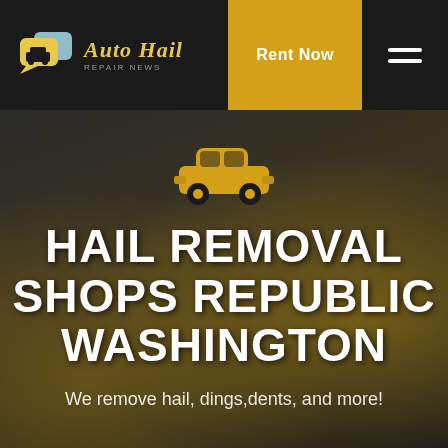[Figure (logo): Auto Hail Repair News logo with speech bubble car icon in gold and white on dark background]
Rent Now
HAIL REMOVAL SHOPS REPUBLIC WASHINGTON
We remove hail, dings,dents, and more!